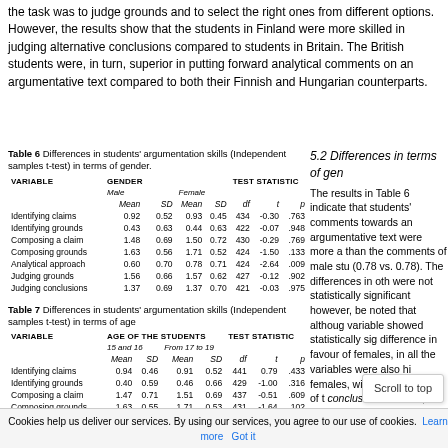the task was to judge grounds and to select the right ones from different options. However, the results show that the students in Finland were more skilled in judging alternative conclusions compared to students in Britain. The British students were, in turn, superior in putting forward analytical comments on an argumentative text compared to both their Finnish and Hungarian counterparts.
Table 6 Differences in students' argumentation skills (Independent samples t-test) in terms of gender.
| VARIABLE | GENDER |  |  |  | TEST STATISTIC |  |  |
| --- | --- | --- | --- | --- | --- | --- | --- |
|  | Male |  | Female |  |  |  |  |
|  | Mean | SD | Mean | SD | df | t | p |
| Identifying claims | 0.92 | 0.52 | 0.93 | 0.45 | 434 | -0.30 | .763 |
| Identifying grounds | 0.43 | 0.63 | 0.44 | 0.63 | 422 | -0.07 | .948 |
| Composing a claim | 1.48 | 0.69 | 1.50 | 0.72 | 430 | -0.29 | .769 |
| Composing grounds | 1.63 | 0.56 | 1.71 | 0.52 | 424 | -1.50 | .133 |
| Analytical approach | 0.60 | 0.70 | 0.78 | 0.71 | 424 | -2.64 | .009 |
| Judging grounds | 1.56 | 0.66 | 1.57 | 0.62 | 427 | -0.12 | .902 |
| Judging conclusions | 1.37 | 0.69 | 1.37 | 0.70 | 421 | -0.03 | .975 |
Table 7 Differences in students' argumentation skills (Independent samples t-test) in terms of age
| VARIABLE | AGE OF THE STUDENTS |  |  |  | TEST STATISTIC |  |  |
| --- | --- | --- | --- | --- | --- | --- | --- |
|  | 15 and 16 |  | From 17 to 19 |  |  |  |  |
|  | Mean | SD | Mean | SD | df | t | p |
| Identifying claims | 0.94 | 0.46 | 0.91 | 0.52 | 441 | 0.79 | .433 |
| Identifying grounds | 0.40 | 0.59 | 0.46 | 0.66 | 429 | -1.00 | .316 |
| Composing a claim | 1.47 | 0.71 | 1.51 | 0.69 | 437 | -0.51 | .609 |
| Composing grounds | 1.63 | 0.55 | 1.71 | 0.53 | 431 | -1.64 | .102 |
| Analytical approach | 0.65 | 0.69 | 0.72 | 0.72 | 431 | -0.98 | .328 |
| Judging grounds | 1.54 | 0.65 | 1.59 | 0.63 | 434 | -0.84 | .401 |
| Judging conclusions | 1.37 | 0.70 | 1.39 | 0.68 | 400 | -0.31 | .754 |
5.2 Differences in terms of gender
The results in Table 6 indicate that students' comments towards an argumentative text were more analytical than the comments of male students (0.78 vs. 0.78). The differences in other variables were not statistically significant. It should, however, be noted that although only one variable showed statistically significant difference in favour of females, the mean scores in all the variables were also higher for females, with the exception of the judging conclusions variable, where males and females performed similarly. Furthermore, Table 7 shows that the skills of students
Cookies help us deliver our services. By using our services, you agree to our use of cookies.
Learn more   Got it